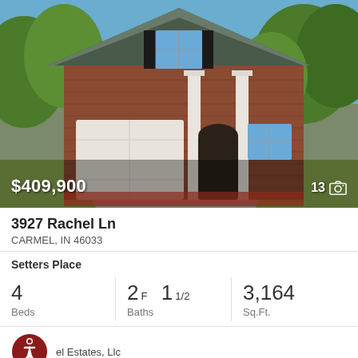[Figure (photo): Exterior photo of a two-story brick house with white garage door, white columns at front entry, and large trees. Price overlay $409,900 bottom-left, photo count 13 with camera icon bottom-right.]
3927 Rachel Ln
CARMEL, IN 46033
Setters Place
| Beds | Baths | Sq.Ft. |
| --- | --- | --- |
| 4 | 2F 1 1/2 | 3,164 |
el Estates, Llc